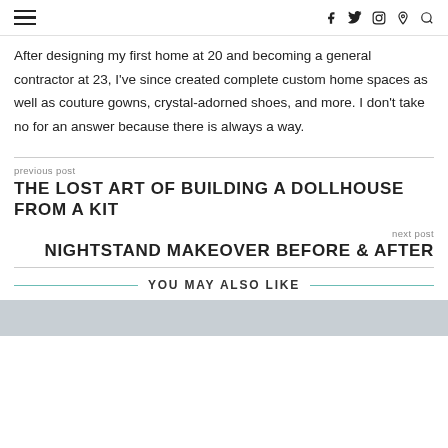☰   f  𝕏  ⊙  ⊕  🔍
After designing my first home at 20 and becoming a general contractor at 23, I've since created complete custom home spaces as well as couture gowns, crystal-adorned shoes, and more. I don't take no for an answer because there is always a way.
previous post
THE LOST ART OF BUILDING A DOLLHOUSE FROM A KIT
next post
NIGHTSTAND MAKEOVER BEFORE & AFTER
YOU MAY ALSO LIKE
[Figure (photo): Light blue-grey image placeholder at bottom of page]